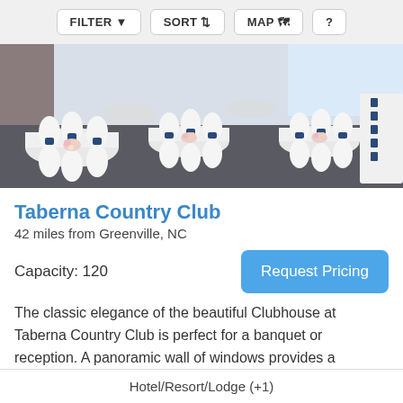FILTER  SORT  MAP  ?
[Figure (photo): Banquet hall interior with round tables covered in white tablecloths and chairs with navy blue sashes, set up for a reception or wedding]
Taberna Country Club
42 miles from Greenville, NC
Capacity: 120
The classic elegance of the beautiful Clubhouse at Taberna Country Club is perfect for a banquet or reception. A panoramic wall of windows provides a spectacular view of the golf course, finishing holes and lake. In addition to providing a
Hotel/Resort/Lodge (+1)